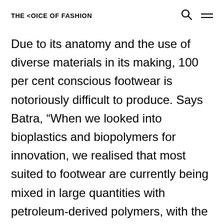THE <OICE OF FASHION
Due to its anatomy and the use of diverse materials in its making, 100 per cent conscious footwear is notoriously difficult to produce. Says Batra, “When we looked into bioplastics and biopolymers for innovation, we realised that most suited to footwear are currently being mixed in large quantities with petroleum-derived polymers, with the majority of it still virgin and/or recycled plastics.” A Blunt Story began with substituting these materials with bio-based alternatives, working with partners and suppliers to create new materials from scratch. Cork